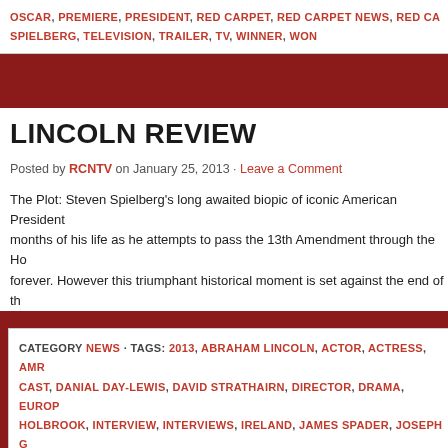OSCAR, PREMIERE, PRESIDENT, RED CARPET, RED CARPET NEWS, RED CA... SPIELBERG, TELEVISION, TRAILER, TV, WINNER, WON
LINCOLN REVIEW
Posted by RCNTV on January 25, 2013 · Leave a Comment
The Plot: Steven Spielberg's long awaited biopic of iconic American President... months of his life as he attempts to pass the 13th Amendment through the Ho... forever. However this triumphant historical moment is set against the end of th...
CATEGORY NEWS · TAGS: 2013, ABRAHAM LINCOLN, ACTOR, ACTRESS, AMR... CAST, DANIAL DAY-LEWIS, DAVID STRATHAIRN, DIRECTOR, DRAMA, EUROP... HOLBROOK, INTERVIEW, INTERVIEWS, IRELAND, JAMES SPADER, JOSEPH C... TODD LINCOLN, MOVIE, NEW, NEWS, NOMINEE, OFFICIAL, OSCARS, PREMI... CARPET NEWS TV, REVIEW, SALLYFIELD, STEVEN SPIELBERG, TELEVISION...